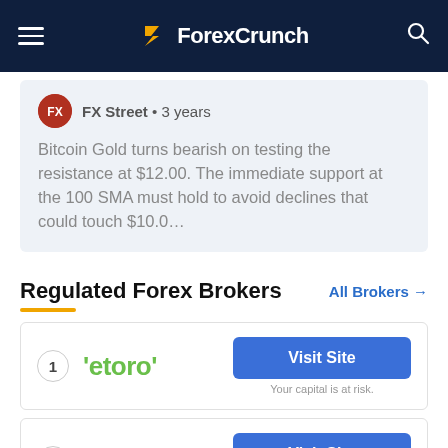ForexCrunch
FX Street • 3 years
Bitcoin Gold turns bearish on testing the resistance at $12.00. The immediate support at the 100 SMA must hold to avoid declines that could touch $10.0...
Regulated Forex Brokers
All Brokers →
1  eToro  Visit Site  Your capital is at risk.
2  capital.com  Visit Site  Your capital is at risk.